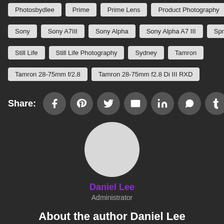Photosbydlee | Prime | Prime Lens | Product Photography
Sony | Sony A7III | Sony Alpha | Sony Alpha A7 III | Spring
Still Life | Still Life Photography | Sydney | Tamron
Tamron 28-75mm f/2.8 | Tamron 28-75mm f2.8 Di III RXD
Share:
[Figure (other): Share buttons for Facebook, Pinterest, Twitter, Email, LinkedIn, WhatsApp, Tumblr]
[Figure (photo): Circular author avatar placeholder]
Daniel Lee
Administrator
About the author Daniel Lee